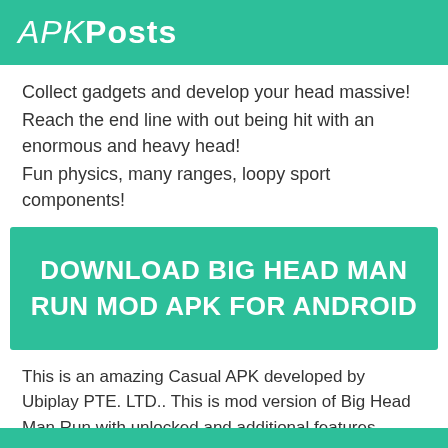APKPosts
Collect gadgets and develop your head massive!
Reach the end line with out being hit with an enormous and heavy head!
Fun physics, many ranges, loopy sport components!
DOWNLOAD BIG HEAD MAN RUN MOD APK FOR ANDROID
This is an amazing Casual APK developed by Ubiplay PTE. LTD.. This is mod version of Big Head Man Run with unlocked and additional features. Latest version 1.2.7 is available for Android. Download Big Head Man Run mod APK from above download link.